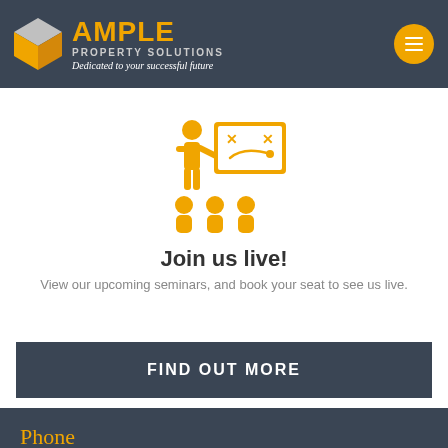AMPLE PROPERTY SOLUTIONS — Dedicated to your successful future
[Figure (illustration): Orange icon of a presenter at a whiteboard with audience members seated below]
Join us live!
View our upcoming seminars, and book your seat to see us live.
FIND OUT MORE
Phone